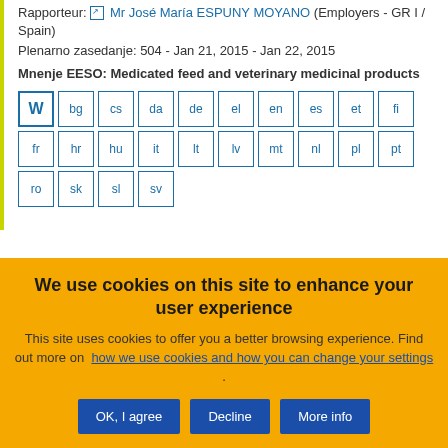Rapporteur: Mr José María ESPUNY MOYANO (Employers - GR I / Spain)
Plenarno zasedanje: 504 - Jan 21, 2015 - Jan 22, 2015
Mnenje EESO: Medicated feed and veterinary medicinal products
[Figure (other): Language download buttons grid: W (Word), bg, cs, da, de, el, en, es, et, fi, fr, hr, hu, it, lt, lv, mt, nl, pl, pt, ro, sk, sl, sv]
We use cookies on this site to enhance your user experience
This site uses cookies to offer you a better browsing experience. Find out more on how we use cookies and how you can change your settings .
OK, I agree | Decline | More info